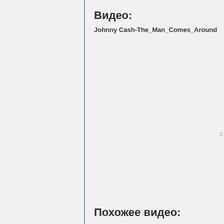Видео:
Johnny Cash-The_Man_Comes_Around
Похожее видео: